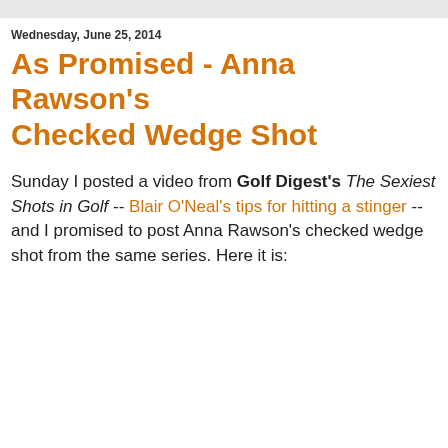Wednesday, June 25, 2014
As Promised - Anna Rawson's Checked Wedge Shot
Sunday I posted a video from Golf Digest's The Sexiest Shots in Golf -- Blair O'Neal's tips for hitting a stinger -- and I promised to post Anna Rawson's checked wedge shot from the same series. Here it is: